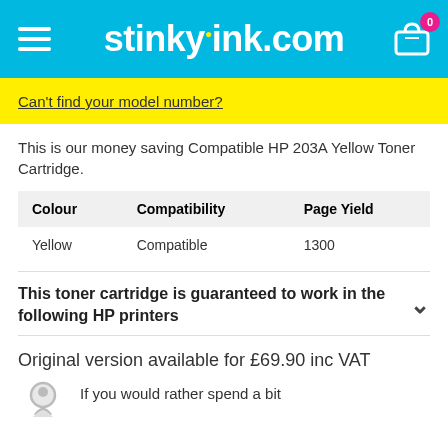stinkyink.com
Can't find your model number?
This is our money saving Compatible HP 203A Yellow Toner Cartridge.
| Colour | Compatibility | Page Yield |
| --- | --- | --- |
| Yellow | Compatible | 1300 |
This toner cartridge is guaranteed to work in the following HP printers
Original version available for £69.90 inc VAT
If you would rather spend a bit